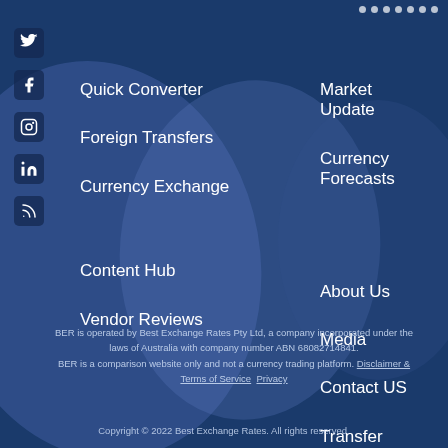Quick Converter
Foreign Transfers
Currency Exchange
Market Update
Currency Forecasts
Content Hub
Vendor Reviews
About Us
Media
Contact US
Transfer Quotes
BER is operated by Best Exchange Rates Pty Ltd, a company incorporated under the laws of Australia with company number ABN 68082714841. BER is a comparison website only and not a currency trading platform. Disclaimer & Terms of Service  Privacy
Copyright © 2022 Best Exchange Rates. All rights reserved.